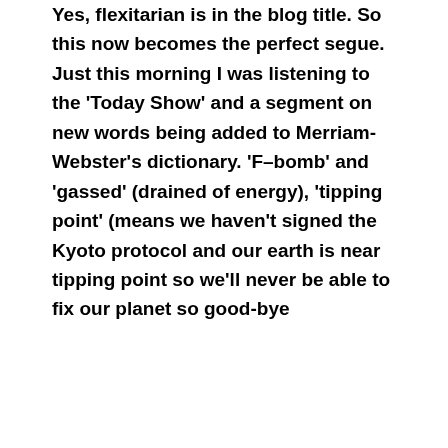Yes, flexitarian is in the blog title. So this now becomes the perfect segue. Just this morning I was listening to the 'Today Show' and a segment on new words being added to Merriam-Webster's dictionary. 'F–bomb' and 'gassed' (drained of energy), 'tipping point' (means we haven't signed the Kyoto protocol and our earth is near tipping point so we'll never be able to fix our planet so good-bye